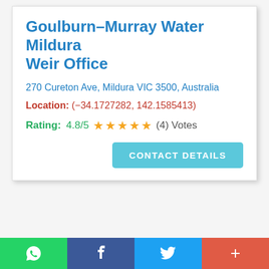Goulburn–Murray Water Mildura Weir Office
270 Cureton Ave, Mildura VIC 3500, Australia
Location: (−34.1727282, 142.1585413)
Rating: 4.8/5 ★★★★★ (4) Votes
CONTACT DETAILS
WhatsApp | Facebook | Twitter | +